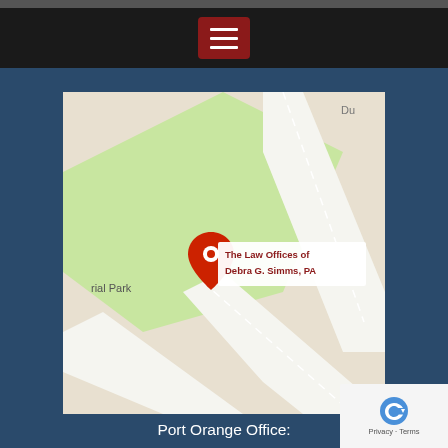Navigation bar with menu button
[Figure (map): Google Maps screenshot showing the location of The Law Offices of Debra G. Simms, PA near a memorial park, Port Orange FL. Red map pin with label 'The Law Offices of Debra G. Simms, PA'.]
Port Orange Office:
Prestige Executive Center
823 Dunlawton Ave. Unit C
Port Orange, FL 32129
Local: 386.251.5033
Toll Free: 877.447.2292
[Figure (map): Google Maps screenshot showing another location of The Law Offices of Debra G. Simms, PA near Wayne Ave, Ball St, Faulkner St, Riverside Dr. Red map pin with label 'The Law Offices of Debra G. Simms, PA'.]